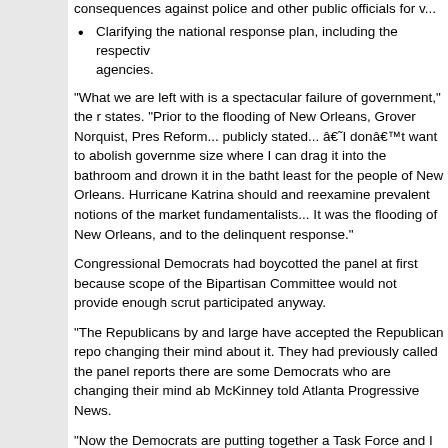consequences against police and other public officials for v...
Clarifying the national response plan, including the respectively agencies.
"What we are left with is a spectacular failure of government," the r states. "Prior to the flooding of New Orleans, Grover Norquist, Pres Reform... publicly stated... â€˜I donâ€™t want to abolish governme size where I can drag it into the bathroom and drown it in the batht least for the people of New Orleans. Hurricane Katrina should and reexamine prevalent notions of the market fundamentalists... It was the flooding of New Orleans, and to the delinquent response."
Congressional Democrats had boycotted the panel at first because scope of the Bipartisan Committee would not provide enough scrut participated anyway.
"The Republicans by and large have accepted the Republican repo changing their mind about it. They had previously called the panel reports there are some Democrats who are changing their mind ab McKinney told Atlanta Progressive News.
"Now the Democrats are putting together a Task Force and I intend by the Democratic Caucus under the leadership of Jim Clyburn," R
"It was too important not to participate," she said. "Itâ€™s like aski We canâ€™t boycott elections, we have to overwhelm elections wi
The renegade Congresswoman also says working on the bipartisa taught her something about looking past party lines. "I learned that judge... I wonâ€™t be partisan... I learned that all Republicans are